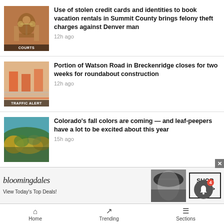[Figure (screenshot): News thumbnail showing a scales of justice image with COURTS label overlay]
Use of stolen credit cards and identities to book vacation rentals in Summit County brings felony theft charges against Denver man
12h ago
[Figure (screenshot): News thumbnail showing construction/road work with TRAFFIC ALERT label overlay]
Portion of Watson Road in Breckenridge closes for two weeks for roundabout construction
12h ago
[Figure (photo): Aerial photo of Colorado fall foliage on hillside]
Colorado's fall colors are coming — and leaf-peepers have a lot to be excited about this year
15h ago
[Figure (screenshot): Partial news thumbnail (blue/teal image, partially visible)]
Partially visible headline text
[Figure (screenshot): Bloomingdales advertisement: View Today's Top Deals! SHOP NOW >]
Home   Trending   Sections